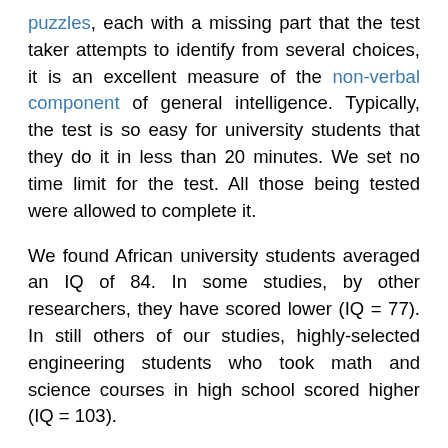puzzles, each with a missing part that the test taker attempts to identify from several choices, it is an excellent measure of the non-verbal component of general intelligence. Typically, the test is so easy for university students that they do it in less than 20 minutes. We set no time limit for the test. All those being tested were allowed to complete it.
We found African university students averaged an IQ of 84. In some studies, by other researchers, they have scored lower (IQ = 77). In still others of our studies, highly-selected engineering students who took math and science courses in high school scored higher (IQ = 103).
Assuming that, like university students elsewhere, the African university students on average score 15 points above the general population, the African general population average of about 70 would appear to be